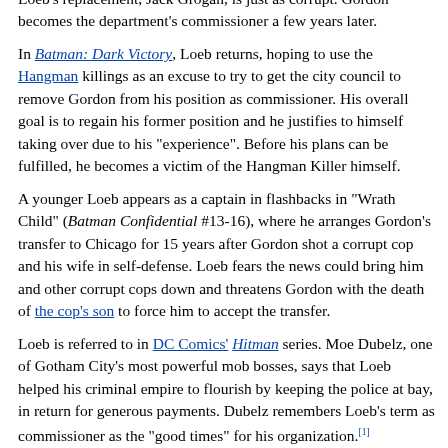Loeb's replacement, Jack Grogan, is just as corrupt. Gordon becomes the department's commissioner a few years later.
In Batman: Dark Victory, Loeb returns, hoping to use the Hangman killings as an excuse to try to get the city council to remove Gordon from his position as commissioner. His overall goal is to regain his former position and he justifies to himself taking over due to his "experience". Before his plans can be fulfilled, he becomes a victim of the Hangman Killer himself.
A younger Loeb appears as a captain in flashbacks in "Wrath Child" (Batman Confidential #13-16), where he arranges Gordon's transfer to Chicago for 15 years after Gordon shot a corrupt cop and his wife in self-defense. Loeb fears the news could bring him and other corrupt cops down and threatens Gordon with the death of the cop's son to force him to accept the transfer.
Loeb is referred to in DC Comics' Hitman series. Moe Dubelz, one of Gotham City's most powerful mob bosses, says that Loeb helped his criminal empire to flourish by keeping the police at bay, in return for generous payments. Dubelz remembers Loeb's term as commissioner as the "good times" for his organization.[1]
Loeb appears in Matt Wagner's limited-series comic Batman and the Monster Men (2005–2006), with first name is given as